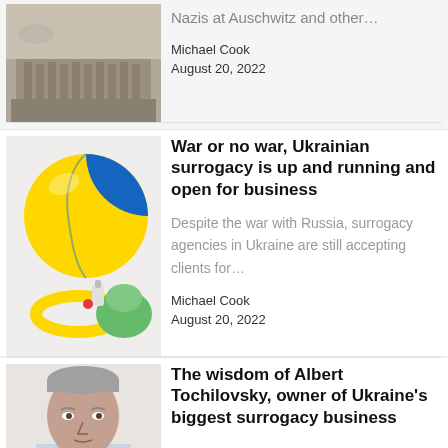[Figure (photo): Historical black and white photo of Auschwitz concentration camp buildings]
Nazis at Auschwitz and other…
Michael Cook
August 20, 2022
[Figure (photo): Colorful baby toys including a blue and yellow ball resembling Ukrainian flag colors, a yellow ring, and a green toy]
War or no war, Ukrainian surrogacy is up and running and open for business
Despite the war with Russia, surrogacy agencies in Ukraine are still accepting clients for…
Michael Cook
August 20, 2022
[Figure (photo): Close-up photo of a middle-aged man with short grey hair, presumably Albert Tochilovsky]
The wisdom of Albert Tochilovsky, owner of Ukraine's biggest surrogacy business